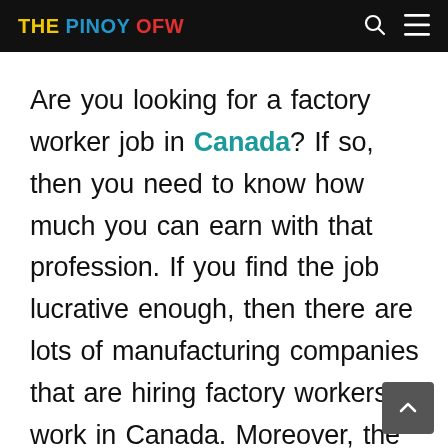THE PINOY OFW
Are you looking for a factory worker job in Canada? If so, then you need to know how much you can earn with that profession. If you find the job lucrative enough, then there are lots of manufacturing companies that are hiring factory workers to work in Canada. Moreover, the country itself is really